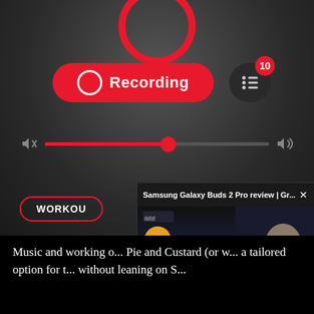[Figure (screenshot): Android screen recording UI showing a red 'Recording' pill button with a circle icon, a dark list button with badge showing '10', a volume slider at ~55%, and a 'WORKOUT' pill button outline at the bottom. A floating video popup overlay shows 'Samsung Galaxy Buds 2 Pro review | Gr...' with a close X button and a thumbnail of the YouTube video.]
Music and working o... Pie and Custard (or w... a tailored option for t... without leaning on S...